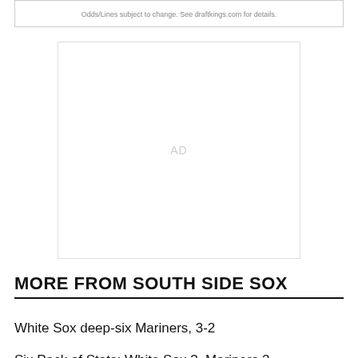Odds/Lines subject to change. See draftkings.com for details.
[Figure (other): Advertisement placeholder box with 'AD' label in the center]
MORE FROM SOUTH SIDE SOX
White Sox deep-six Mariners, 3-2
Six Pack of Stats: White Sox 3, Mariners 2